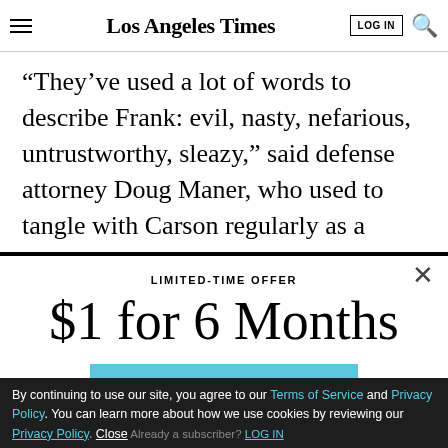Los Angeles Times
“They’ve used a lot of words to describe Frank: evil, nasty, nefarious, untrustworthy, sleazy,” said defense attorney Doug Maner, who used to tangle with Carson regularly as a Modesto prosecutor.
LIMITED-TIME OFFER
$1 for 6 Months
SUBSCRIBE NOW
By continuing to use our site, you agree to our Terms of Service and Privacy Policy. You can learn more about how we use cookies by reviewing our Privacy Policy. Close
Already a subscriber? LOG IN